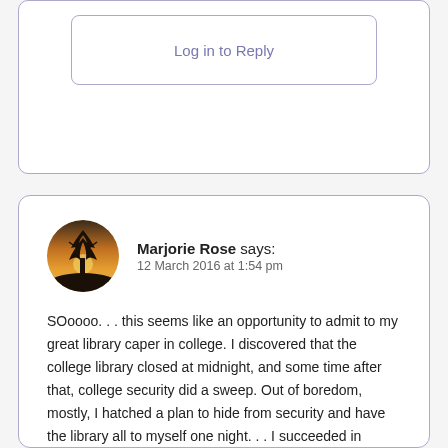Log in to Reply
Marjorie Rose says:
12 March 2016 at 1:54 pm
SOoooo. . . this seems like an opportunity to admit to my great library caper in college. I discovered that the college library closed at midnight, and some time after that, college security did a sweep. Out of boredom, mostly, I hatched a plan to hide from security and have the library all to myself one night. . . I succeeded in avoiding security, enjoyed wandering around on my own a bit, and left strings of Christmas lights and a bowl of M&Ms as evidence I was there. Not the most devious of plots, I admit, but it seemed like quite the adventure at the time! 😊